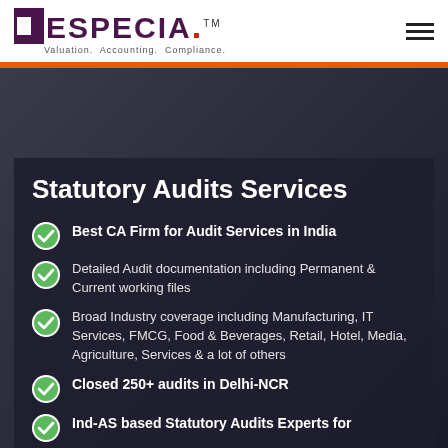[Figure (logo): Especia logo with purple bracket icon, text 'ESPECIA.' with red dot and TM mark, tagline 'Valuation. Accounting. Compliance.']
Statutory Audits Services
Best CA Firm for Audit Services in India
Detailed Audit documentation including Permanent & Current working files
Broad Industry coverage including Manufacturing, IT Services, FMCG, Food & Beverages, Retail, Hotel, Media, Agriculture, Services & a lot of others
Closed 250+ audits in Delhi-NCR
Ind-AS based Statutory Audits Experts for